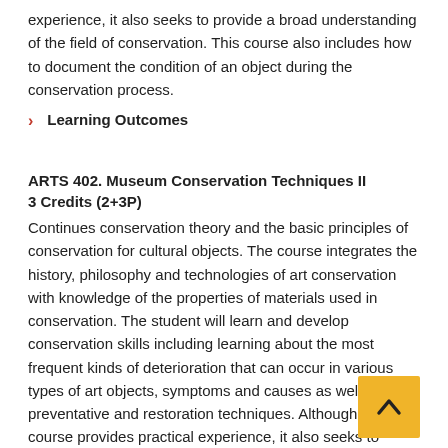experience, it also seeks to provide a broad understanding of the field of conservation. This course also includes how to document the condition of an object during the conservation process.
Learning Outcomes
ARTS 402. Museum Conservation Techniques II
3 Credits (2+3P)
Continues conservation theory and the basic principles of conservation for cultural objects. The course integrates the history, philosophy and technologies of art conservation with knowledge of the properties of materials used in conservation. The student will learn and develop conservation skills including learning about the most frequent kinds of deterioration that can occur in various types of art objects, symptoms and causes as well as preventative and restoration techniques. Although this course provides practical experience, it also seeks to provide a broad understanding of the field of conservation.
Prerequisite(s): ARTS 401.
Learning Outcomes